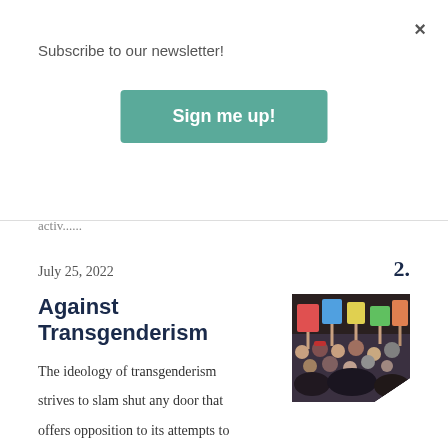×
Subscribe to our newsletter!
Sign me up!
physicians to engage in anti-growth activ......
July 25, 2022
2.
Against Transgenderism
[Figure (photo): Crowd of protesters holding signs at a rally]
The ideology of transgenderism strives to slam shut any door that offers opposition to its attempts to acquire power and control. This statement explains our opposition to